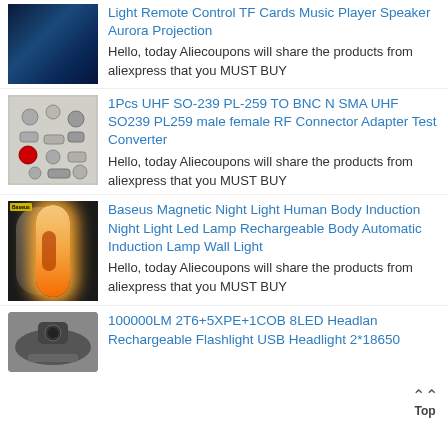[Figure (photo): Dark blue product image, aurora projection speaker]
Light Remote Control TF Cards Music Player Speaker Aurora Projection
Hello, today Aliecoupons will share the products from aliexpress that you MUST BUY
[Figure (photo): Various RF connector adapters spread out on white background]
1Pcs UHF SO-239 PL-259 TO BNC N SMA UHF SO239 PL259 male female RF Connector Adapter Test Converter
Hello, today Aliecoupons will share the products from aliexpress that you MUST BUY
[Figure (photo): Baseus magnetic night light with warm glow on dark background]
Baseus Magnetic Night Light Human Body Induction Night Light Led Lamp Rechargeable Body Automatic Induction Lamp Wall Light
Hello, today Aliecoupons will share the products from aliexpress that you MUST BUY
[Figure (photo): Headlamp flashlight product image]
100000LM 2T6+5XPE+1COB 8LED Headlan Rechargeable Flashlight USB Headlight 2*18650